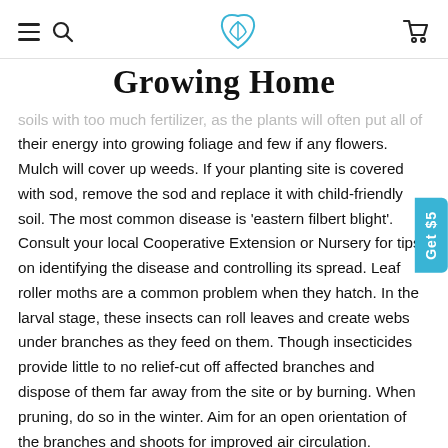Growing Home
soils with too much fertilizer, as the plants will often put all of their energy into growing foliage and few if any flowers. Mulch will cover up weeds. If your planting site is covered with sod, remove the sod and replace it with child-friendly soil. The most common disease is 'eastern filbert blight'. Consult your local Cooperative Extension or Nursery for tips on identifying the disease and controlling its spread. Leaf roller moths are a common problem when they hatch. In the larval stage, these insects can roll leaves and create webs under branches as they feed on them. Though insecticides provide little to no relief-cut off affected branches and dispose of them far away from the site or by burning. When pruning, do so in the winter. Aim for an open orientation of the branches and shoots for improved air circulation. Cleanliness and sharp tools are important to prevent fungus from infecting your tree's bark. When removing old